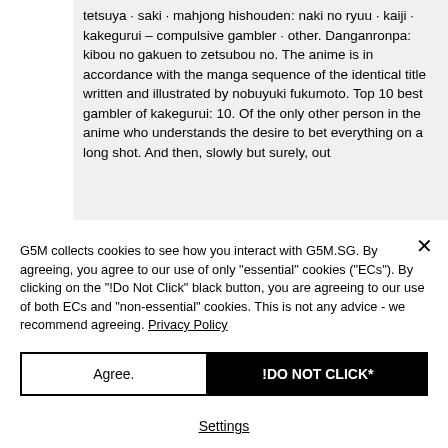tetsuya · saki · mahjong hishouden: naki no ryuu · kaiji · kakegurui – compulsive gambler · other. Danganronpa: kibou no gakuen to zetsubou no. The anime is in accordance with the manga sequence of the identical title written and illustrated by nobuyuki fukumoto. Top 10 best gambler of kakegurui: 10. Of the only other person in the anime who understands the desire to bet everything on a long shot. And then, slowly but surely, out
G5M collects cookies to see how you interact with G5M.SG. By agreeing, you agree to our use of only "essential" cookies ("ECs"). By clicking on the "!Do Not Click" black button, you are agreeing to our use of both ECs and "non-essential" cookies. This is not any advice - we recommend agreeing. Privacy Policy
Agree.
!DO NOT CLICK*
Settings